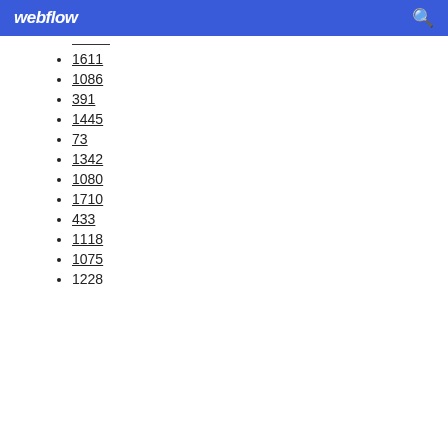webflow
1611
1086
391
1445
73
1342
1080
1710
433
1118
1075
1228